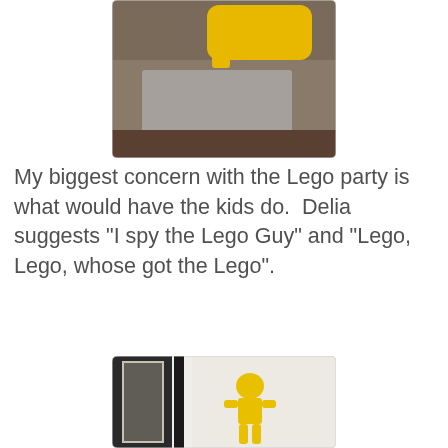[Figure (photo): Partial photo at top showing a yellow Lego speech-bubble piece on a gray/brown surface]
My biggest concern with the Lego party is what would have the kids do.  Delia suggests "I spy the Lego Guy" and "Lego, Lego, whose got the Lego".
[Figure (photo): Photo of a yellow Lego minifigure placed against a white textured wall, with a black-framed picture partially visible on the left]